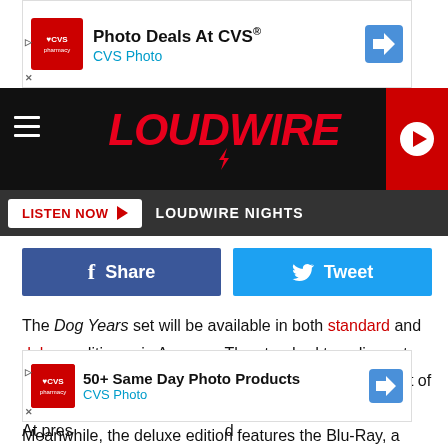[Figure (screenshot): CVS Photo advertisement banner at top: 'Photo Deals At CVS® / CVS Photo']
[Figure (logo): Loudwire logo in red on black navigation bar with hamburger menu and play button]
[Figure (screenshot): Listen Now button and Loudwire Nights text on dark bar]
[Figure (infographic): Facebook Share and Twitter Tweet social sharing buttons]
The Dog Years set will be available in both standard and deluxe editions via Amazon. The standard two-disc set features a Blu-Ray of the 100-minute concert plus eight of the band's music videos along with the Dog Years EP. Meanwhile, the deluxe edition features the Blu-Ray, a DVD of the live concert material and music videos, plus two discs worth of the audio from the performance.
[Figure (screenshot): CVS Photo advertisement: '50+ Same Day Photo Products / CVS Photo']
At pres...d